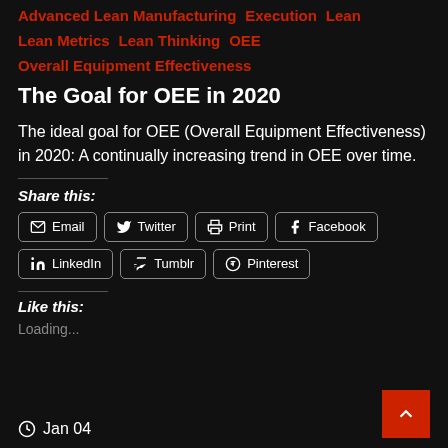Advanced Lean Manufacturing  Execution  Lean  Lean Metrics  Lean Thinking  OEE  Overall Equipment Effectiveness
The Goal for OEE in 2020
The ideal goal for OEE (Overall Equipment Effectiveness) in 2020: A continually increasing trend in OEE over time.
Share this:
Email  Twitter  Print  Facebook  LinkedIn  Tumblr  Pinterest
Like this:
Loading...
Jan 04